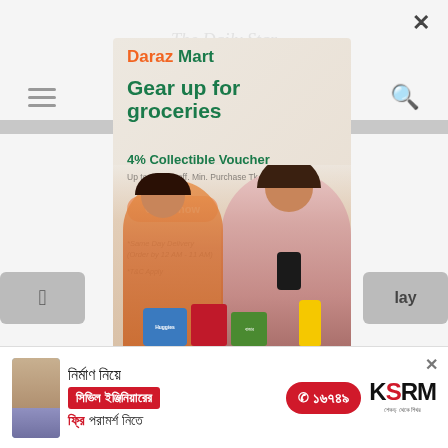[Figure (screenshot): Daraz Mart advertisement popup showing 'Gear up for groceries' promotion with 4% Collectible Voucher, Order now button, same day delivery notice, and two women looking at grocery products]
Daraz Mart
Gear up for groceries
4% Collectible Voucher
Up to Tk 100 off. Min. Purchase Tk 1000
Order now
*Same Day Delivery
(Order by 12 AM - 11 AM)
*T&C Apply
[Figure (infographic): Bottom advertisement banner for KSRM with Bengali text about civil engineering consultation, phone number 16749, and KSRM logo]